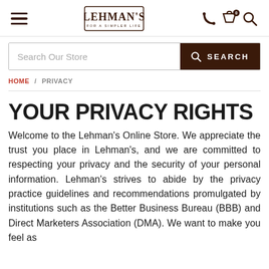Lehman's — For a Simpler Life
Search Our Store
HOME / PRIVACY
YOUR PRIVACY RIGHTS
Welcome to the Lehman's Online Store. We appreciate the trust you place in Lehman's, and we are committed to respecting your privacy and the security of your personal information. Lehman's strives to abide by the privacy practice guidelines and recommendations promulgated by institutions such as the Better Business Bureau (BBB) and Direct Marketers Association (DMA). We want to make you feel as